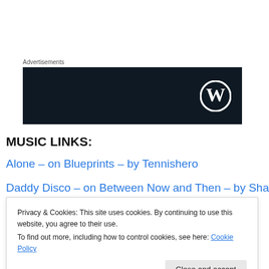Advertisements
[Figure (logo): Dark navy advertisement banner with WordPress logo (circle W) on right side]
MUSIC LINKS:
Alone – on Blueprints – by Tennishero
Daddy Disco – on Between Now and Then – by Sharif D
Evolve Daydream Mix – by DJ Cristo
Keep You Kimi – on Moving On – by Hird
Privacy & Cookies: This site uses cookies. By continuing to use this website, you agree to their use.
To find out more, including how to control cookies, see here: Cookie Policy